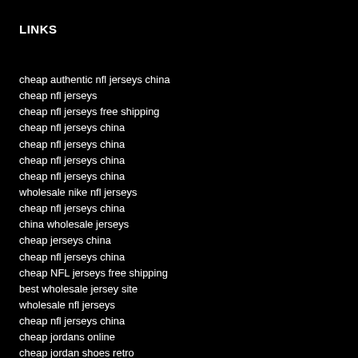LINKS
cheap authentic nfl jerseys china
cheap nfl jerseys
cheap nfl jerseys free shipping
cheap nfl jerseys china
cheap nfl jerseys china
cheap nfl jerseys china
cheap nfl jerseys china
wholesale nike nfl jerseys
cheap nfl jerseys china
china wholesale jerseys
cheap jerseys china
cheap nfl jerseys china
cheap NFL jerseys free shipping
best wholesale jersey site
wholesale nfl jerseys
cheap nfl jerseys china
cheap jordans online
cheap jordan shoes retro
Cheap Authentic NFL Jerseys
Cheap Jerseys